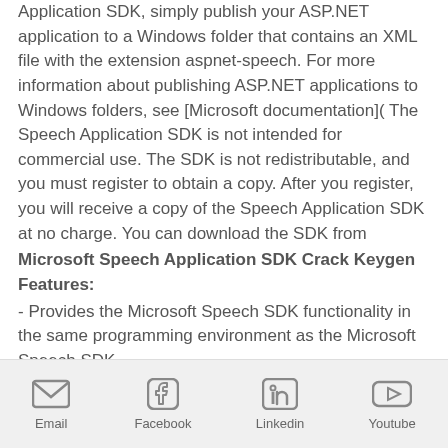Application SDK, simply publish your ASP.NET application to a Windows folder that contains an XML file with the extension aspnet-speech. For more information about publishing ASP.NET applications to Windows folders, see [Microsoft documentation]( The Speech Application SDK is not intended for commercial use. The SDK is not redistributable, and you must register to obtain a copy. After you register, you will receive a copy of the Speech Application SDK at no charge. You can download the SDK from
Microsoft Speech Application SDK Crack Keygen Features:
- Provides the Microsoft Speech SDK functionality in the same programming environment as the Microsoft Speech SDK ...
Email | Facebook | Linkedin | Youtube